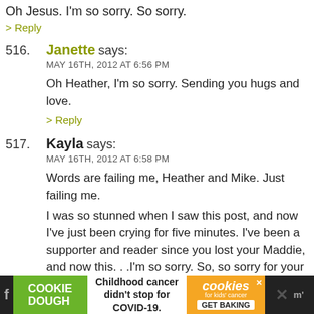Oh Jesus. I'm so sorry. So sorry.
> Reply
516. Janette says: MAY 16TH, 2012 AT 6:56 PM — Oh Heather, I'm so sorry. Sending you hugs and love. > Reply
517. Kayla says: MAY 16TH, 2012 AT 6:58 PM — Words are failing me, Heather and Mike. Just failing me. I was so stunned when I saw this post, and now I've just been crying for five minutes. I've been a supporter and reader since you lost your Maddie, and now this...I'm so sorry. So, so sorry for your loss. This is all wrong. > Reply
[Figure (advertisement): Ad bar at bottom: Cookie Dough green logo, 'Childhood cancer didn't stop for COVID-19.' text, orange cookies for kids cancer GET BAKING panel, close X, dark background with social icons.]